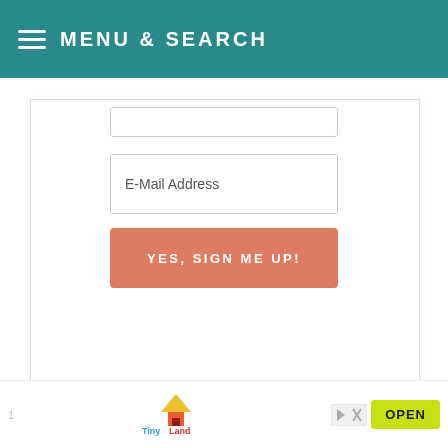MENU & SEARCH
E-Mail Address
YES, SIGN ME UP!
Still hungry? Follow Dinner at
[Figure (screenshot): Advertisement banner with Tiny Land logo and OPEN button]